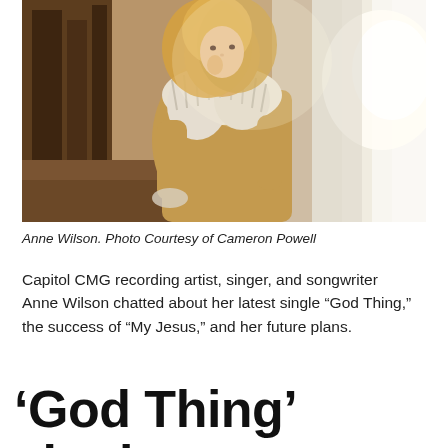[Figure (photo): A blonde woman wearing a tan/camel coat with white fur trim, posing and looking at camera, photographed indoors with dramatic lighting and a white backdrop]
Anne Wilson. Photo Courtesy of Cameron Powell
Capitol CMG recording artist, singer, and songwriter Anne Wilson chatted about her latest single “God Thing,” the success of “My Jesus,” and her future plans.
‘God Thing’ single